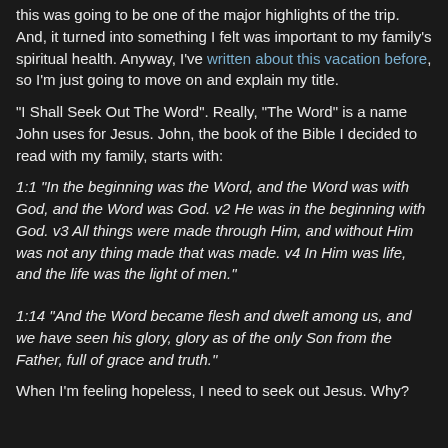this was going to be one of the major highlights of the trip. And, it turned into something I felt was important to my family's spiritual health. Anyway, I've written about this vacation before, so I'm just going to move on and explain my title.
"I Shall Seek Out The Word". Really, "The Word" is a name John uses for Jesus. John, the book of the Bible I decided to read with my family, starts with:
1:1 "In the beginning was the Word, and the Word was with God, and the Word was God. v2 He was in the beginning with God. v3 All things were made through Him, and without Him was not any thing made that was made. v4 In Him was life, and the life was the light of men."
1:14 "And the Word became flesh and dwelt among us, and we have seen his glory, glory as of the only Son from the Father, full of grace and truth."
When I'm feeling hopeless, I need to seek out Jesus. Why?